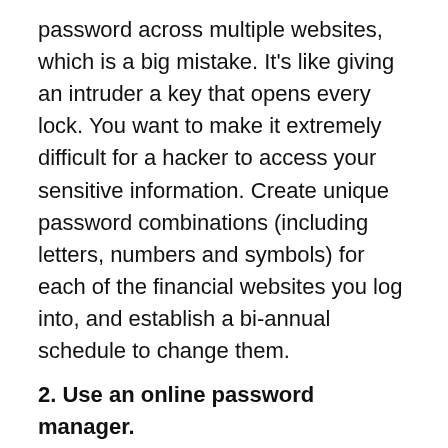password across multiple websites, which is a big mistake. It's like giving an intruder a key that opens every lock. You want to make it extremely difficult for a hacker to access your sensitive information. Create unique password combinations (including letters, numbers and symbols) for each of the financial websites you log into, and establish a bi-annual schedule to change them.
2. Use an online password manager.
All of those hard to crack passwords can be a nightmare to remember and store, so utilize a reputable password manager. The best managers include password generators that create strong and unique choices. Most password managers allow you to sync your passwords across all electronic devices, making it easy to maintain multiple passwords.